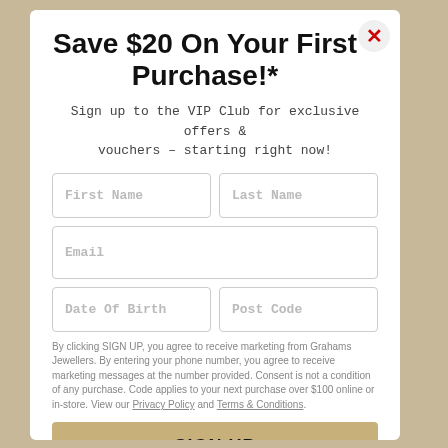Save $20 On Your First Purchase!*
Sign up to the VIP Club for exclusive offers & vouchers - starting right now!
[Figure (other): Web form with fields: First Name, Last Name, Email, Date Of Birth, Post Code]
By clicking SIGN UP, you agree to receive marketing from Grahams Jewellers. By entering your phone number, you agree to receive marketing messages at the number provided. Consent is not a condition of any purchase. Code applies to your next purchase over $100 online or in-store. View our Privacy Policy and Terms & Conditions.
SIGN UP